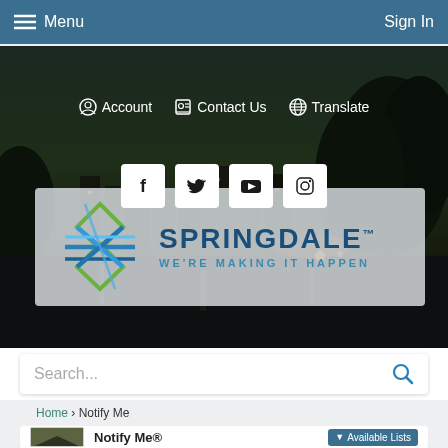Menu   Sign In
[Figure (screenshot): City of Springdale website header with dark nighttime cityscape background]
Account  Contact Us  Translate
[Figure (logo): Social media icons: Facebook, Twitter, YouTube, Instagram]
[Figure (logo): Springdale city logo — geometric diamond/cross pattern in blue and green with text SPRINGDALE WE'RE MAKING IT HAPPEN]
Search...
Home › Notify Me
Notify Me®
▼ Available Lists
1. Type your email address in the box and select Sign In